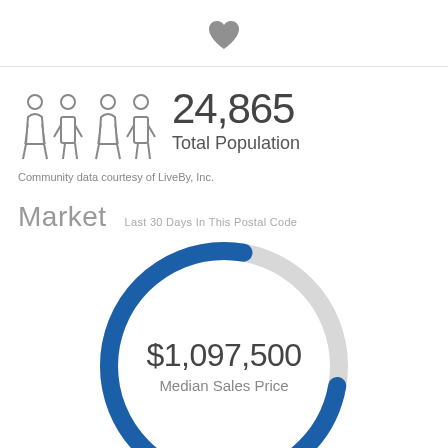[Figure (illustration): Heart icon (favorites/save button) centered at top of page]
[Figure (infographic): Four people silhouette icons representing population]
24,865
Total Population
Community data courtesy of LiveBy, Inc.
Market
Last 30 Days In This Postal Code
[Figure (donut-chart): Donut chart showing Median Sales Price of $1,097,500 with approximately 75% blue arc and 25% gray arc]